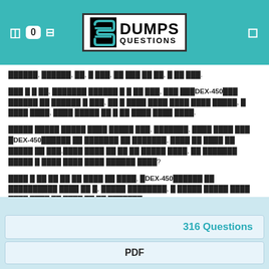[Figure (logo): DumpsQuestions logo with stylized S icon and text DUMPS QUESTIONS in a bordered box, set in teal header bar with navigation icons]
██████, ██████, ██, █ ███, ██ ███ ██ ██, █ ██ ███.
███ █ █ ██, ███████ ██████ █ █ ██ ███, ███ ███DEX-450███ ██████ ██ ██████ █ ███, ██ █ ████ ████ ████ ████ █████, █ ████ ████, ████ █████ ██ █ ██ ████ ████ ████.
█████ █████ █████ ████ █████ ███, ███████, ████ ████ ███ █DEX-450██████ ██ ███████ ██ ███████, ████ ██ ████ ██ █████ ██ ███.████ ████ ██ ██ ██ █████ ████, ██ ███████ █████ █ ████ ████ ████ ██████ ████?
████ █ ██ ██ ██ ██ ████ ██ ████, █DEX-450██████ ██ ██████████ ████ ██ █, █████ ████████, █ █████ █████ ████ ████ ████ ██ ████ ██ ██ ███████.
316 Questions
PDF